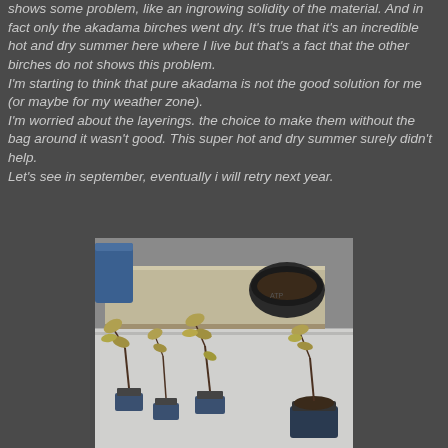shows some problem, like an ingrowing solidity of the material. And in fact only the akadama birches went dry. It's true that it's an incredible hot and dry summer here where I live but that's a fact that the other birches do not shows this problem.
I'm starting to think that pure akadama is not the good solution for me (or maybe for my weather zone).
I'm worried about the layerings. the choice to make them without the bag around it wasn't good. This super hot and dry summer surely didn't help.
Let's see in september, eventually i will retry next year.
[Figure (photo): Photograph of several small potted birch trees or seedlings with wilted, dried-up leaves in small blue pots, placed on a light-colored ground surface. In the background there is a wooden shelf/bench with a dark round bonsai pot on it, and a blue container on the left.]